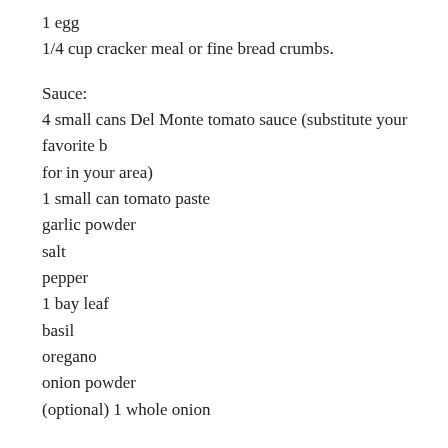1 egg
1/4 cup cracker meal or fine bread crumbs.
Sauce:
4 small cans Del Monte tomato sauce (substitute your favorite b for in your area)
1 small can tomato paste
garlic powder
salt
pepper
1 bay leaf
basil
oregano
onion powder
(optional) 1 whole onion
Preparation:
Place the ground chuck in a medium mixing bowl. This scales u